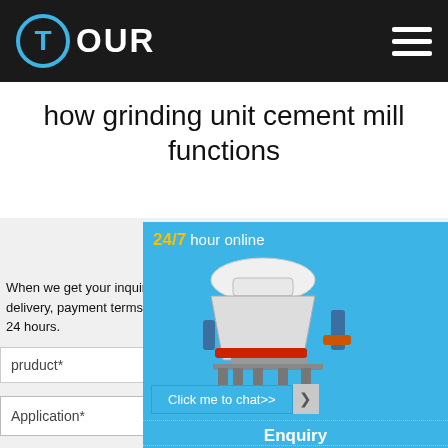T OUR
how grinding unit cement mill functions
INQUIRY
When we get your inquiries, we will send tailored delivery, payment terms and other required detail min 24 hours.
pruduct*
Application*
[Figure (screenshot): Blue sidebar showing 24/7 hour online label, industrial cone crusher machine image, and Click me to chat>> button]
Enquiry
limingjlmofen